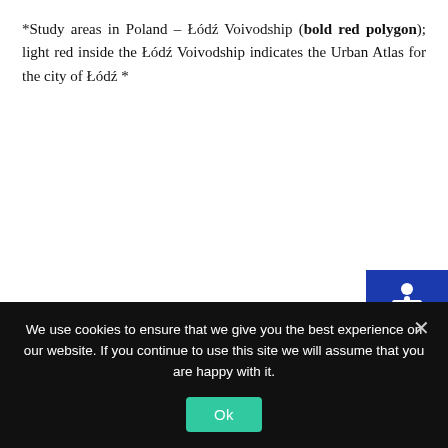*Study areas in Poland – Łódź Voivodship (bold red polygon); light red inside the Łódź Voivodship indicates the Urban Atlas for the city of Łódź *
[Figure (other): Accessibility icon button — white wheelchair symbol on dark blue background, positioned top-right]
We use cookies to ensure that we give you the best experience on our website. If you continue to use this site we will assume that you are happy with it.